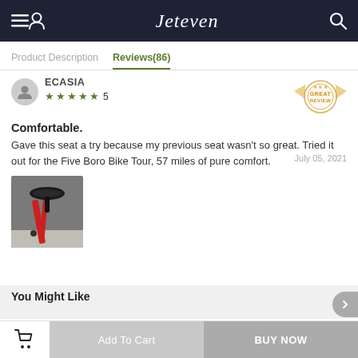Jeteven
Product Description   Reviews(86)
ECASIA
★ ★ ★ ★ ★ 5
July 05, 2021
Comfortable.
Gave this seat a try because my previous seat wasn't so great. Tried it out for the Five Boro Bike Tour, 57 miles of pure comfort.
[Figure (photo): Photo of a black bicycle saddle on a red bike frame, viewed from above at an angle, on a light floor.]
You Might Like
Add To Cart
BUY NOW